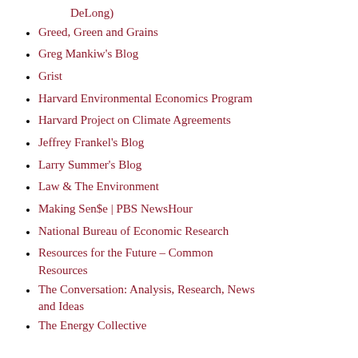DeLong)
Greed, Green and Grains
Greg Mankiw's Blog
Grist
Harvard Environmental Economics Program
Harvard Project on Climate Agreements
Jeffrey Frankel's Blog
Larry Summer's Blog
Law & The Environment
Making Sen$e | PBS NewsHour
National Bureau of Economic Research
Resources for the Future – Common Resources
The Conversation: Analysis, Research, News and Ideas
The Energy Collective